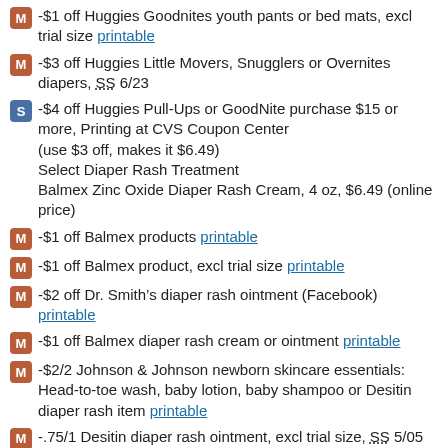-$1 off Huggies Goodnites youth pants or bed mats, excl trial size printable
-$3 off Huggies Little Movers, Snugglers or Overnites diapers, SS 6/23
-$4 off Huggies Pull-Ups or GoodNite purchase $15 or more, Printing at CVS Coupon Center
(use $3 off, makes it $6.49)
Select Diaper Rash Treatment
Balmex Zinc Oxide Diaper Rash Cream, 4 oz, $6.49 (online price)
-$1 off Balmex products printable
-$1 off Balmex product, excl trial size printable
-$2 off Dr. Smith’s diaper rash ointment (Facebook) printable
-$1 off Balmex diaper rash cream or ointment printable
-$2/2 Johnson & Johnson newborn skincare essentials: Head-to-toe wash, baby lotion, baby shampoo or Desitin diaper rash item printable
-.75/1 Desitin diaper rash ointment, excl trial size, SS 5/05 (EXP 06/30)
(use $1 off, makes it $5.49)
**Deal Idea**